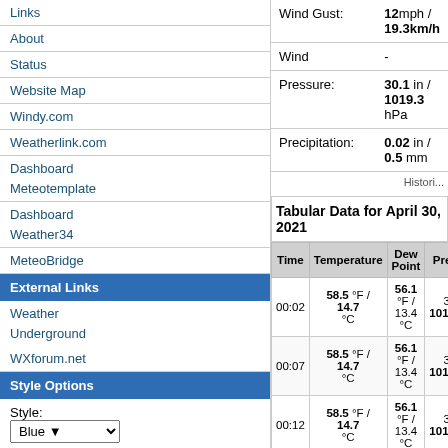Links
About
Status
Website Map
Windy.com
Weatherlink.com
Dashboard Meteotemplate
Dashboard Weather34
MeteoBridge
External Links
Weather Underground
WXforum.net
Style Options
Style: Blue
Widescreen: On | Off
Set
|  |
| --- |
| Wind Gust: | 12mph / 19.3km/h |
| Wind | - |
| Pressure: | 30.1 in / 1019.3 hPa |
| Precipitation: | 0.02 in / 0.5 mm |
Tabular Data for April 30, 2021
| Time | Temperature | Dew Point | Pressure | Wind | W |
| --- | --- | --- | --- | --- | --- |
| 00:02 | 58.5 °F / 14.7 °C | 56.1 °F / 13.4 °C | 30in / 1016.9hPa | West | 2 4 |
| 00:07 | 58.5 °F / 14.7 °C | 56.1 °F / 13.4 °C | 30in / 1016.9hPa | West | 4 6 |
| 00:12 | 58.5 °F / 14.7 °C | 56.1 °F / 13.4 °C | 30in / 1016.9hPa | West | 2 4 |
| 00:17 | 58.3 °F / 14.6 °C | 55.9 °F / 13.3 °C | 30in / 1016.9hPa | WNW | 2 3 |
| 00:22 | 58.3 °F / 14.6 °C | 55.9 °F / ... | 30in / ... |  |  |